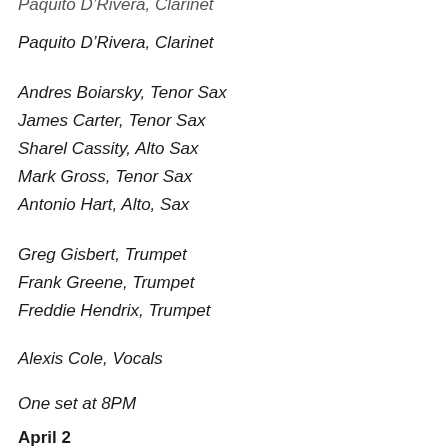Paquito D'Rivera, Clarinet
Andres Boiarsky, Tenor Sax
James Carter, Tenor Sax
Sharel Cassity, Alto Sax
Mark Gross, Tenor Sax
Antonio Hart, Alto, Sax
Greg Gisbert, Trumpet
Frank Greene, Trumpet
Freddie Hendrix, Trumpet
Alexis Cole, Vocals
One set at 8PM
April 2